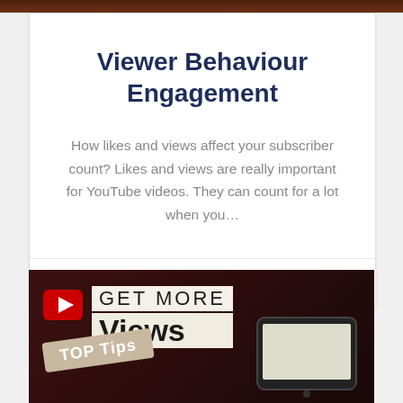Viewer Behaviour Engagement
How likes and views affect your subscriber count? Likes and views are really important for YouTube videos. They can count for a lot when you…
vhero
[Figure (illustration): YouTube promotional image with YouTube logo icon, text 'GET MORE Views', 'TOP Tips' badge, and a tablet graphic on dark red background]